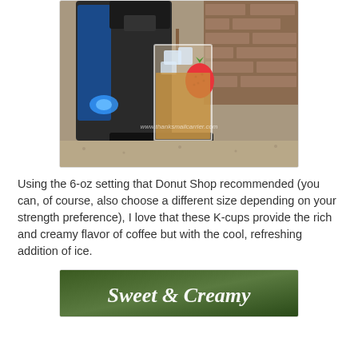[Figure (photo): A Keurig coffee machine with blue accent light brewing into a tall glass with ice, decorated with a strawberry design, filled with iced coffee. Watermark reads www.thanksmailcarrier.com. Machine sits on a granite countertop with brick backsplash.]
Using the 6-oz setting that Donut Shop recommended (you can, of course, also choose a different size depending on your strength preference), I love that these K-cups provide the rich and creamy flavor of coffee but with the cool, refreshing addition of ice.
[Figure (photo): Partial image showing text 'Sweet & Creamy' in decorative script font over a blurred green background.]